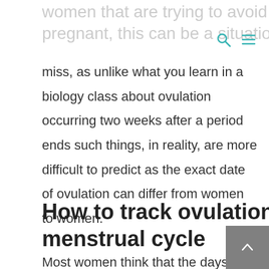women that are trying to avoid getting pregnant, this can be a situation of a hit and
miss, as unlike what you learn in a biology class about ovulation occurring two weeks after a period ends such things, in reality, are more difficult to predict as the exact date of ovulation can differ from women to women.
How to track ovulation and the menstrual cycle
Most women think that the days that they